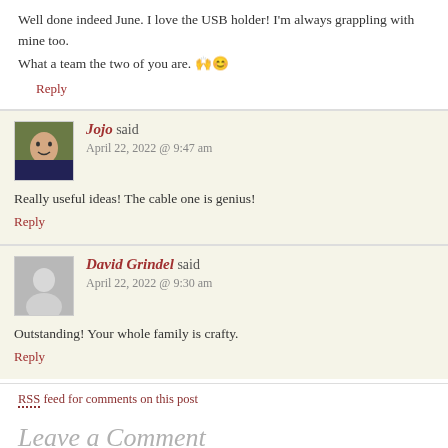Well done indeed June. I love the USB holder! I'm always grappling with mine too.
What a team the two of you are. 🙌😊
Reply
Jojo said
April 22, 2022 @ 9:47 am
Really useful ideas! The cable one is genius!
Reply
David Grindel said
April 22, 2022 @ 9:30 am
Outstanding! Your whole family is crafty.
Reply
RSS feed for comments on this post
Leave a Comment